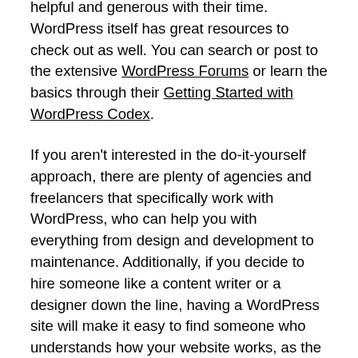helpful and generous with their time. WordPress itself has great resources to check out as well. You can search or post to the extensive WordPress Forums or learn the basics through their Getting Started with WordPress Codex.
If you aren't interested in the do-it-yourself approach, there are plenty of agencies and freelancers that specifically work with WordPress, who can help you with everything from design and development to maintenance. Additionally, if you decide to hire someone like a content writer or a designer down the line, having a WordPress site will make it easy to find someone who understands how your website works, as the WordPress admin area and structure is universal.